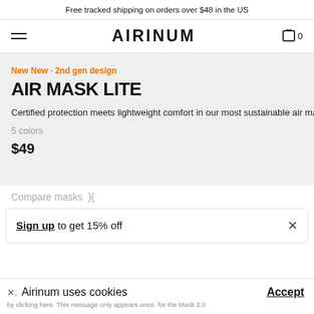Free tracked shipping on orders over $48 in the US
[Figure (screenshot): AIRINUM logo navigation bar with hamburger menu on left, AIRINUM brand name in center, shopping cart icon with 0 count on right]
New New · 2nd gen design
AIR MASK LITE
Certified protection meets lightweight comfort in our most sustainable air mask yet.
5 colors
$49
Compare masks
Sign up to get 15% off
Airinum uses cookies
by clicking here. This message only appears once. for the Mask 2.0